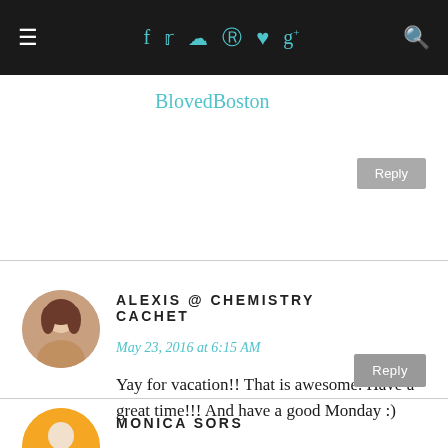≡ [social icons] 🔍
BlovedBoston
Reply
ALEXIS @ CHEMISTRY CACHET
May 23, 2016 at 6:15 AM
Yay for vacation!! That is awesome. Have a great time!!! And have a good Monday :)
Reply
MONICA SORS